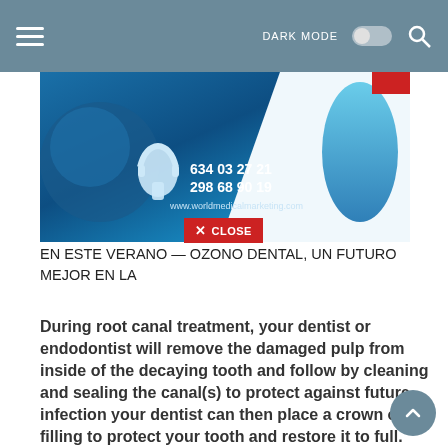DARK MODE  [toggle]  [search]
[Figure (photo): Dental/medical marketing banner with blue background, headset icon, phone numbers 634 03 27 21 and 298 68 90 19, website www.worldmedicalmarketing.com, and blue dental shape on right side]
[Figure (infographic): Red CLOSE button overlay with X icon]
EN ESTE VERANO — OZONO DENTAL, UN FUTURO MEJOR EN LA
During root canal treatment, your dentist or endodontist will remove the damaged pulp from inside of the decaying tooth and follow by cleaning and sealing the canal(s) to protect against future infection your dentist can then place a crown or filling to protect your tooth and restore it to full.